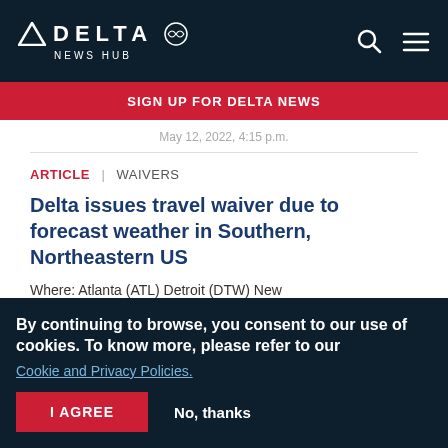DELTA NEWS HUB
SIGN UP FOR DELTA NEWS
May 12, 2022, 4:15 p.m.
ARTICLE | WAIVERS
Delta issues travel waiver due to forecast weather in Southern, Northeastern US
Where: Atlanta (ATL) Detroit (DTW) New
By continuing to browse, you consent to our use of cookies. To know more, please refer to our Cookie and Privacy Policies.
I AGREE   No, thanks